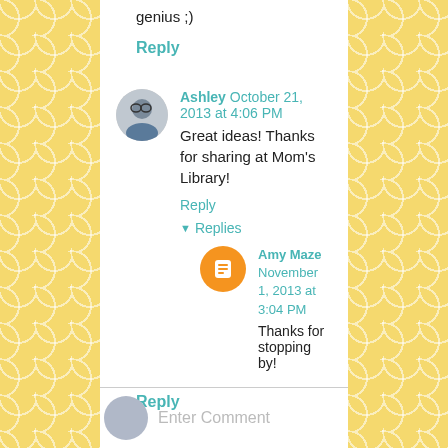genius ;)
Reply
Ashley  October 21, 2013 at 4:06 PM
Great ideas! Thanks for sharing at Mom's Library!
Reply
Replies
Amy Maze  November 1, 2013 at 3:04 PM
Thanks for stopping by!
Reply
Enter Comment